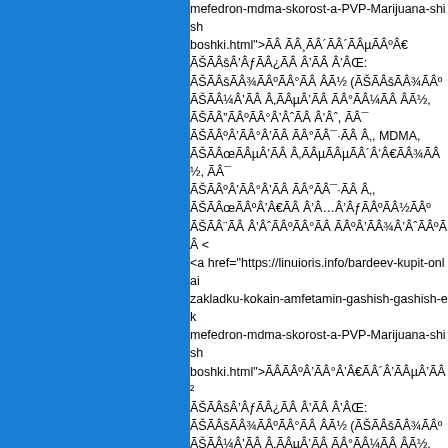mefedron-mdma-skorost-a-PVP-Marijuana-shishki-boshki.html">ÃÂ ÃÂ¸ÃÂ´ÃÂ´ÃÂµÃÂ¾Ã€: ÃÂšÃÂƒÃÂ¿Ã‚Â¡ÃÂ½ ÃÂšÃÂ¾ÃÂ°ÃÂÃÂÀÃÂµÃÂÃ‚„ÃÂÃÂÃÂÃÂÃÂÃÂÃÂÃÂÃÂÃÂµÃÂÃÂÃÂÃÂ½, ÃÂÂ¨ÃÂ°ÃÂÃÂÃÂÃÂÃÂÃÂÃÂÃÂÃÂÃÂÃÂÃÂÃÂÃÂÃÂÃÂÃÂÃÂÃÂÃÂÃÂÃÂÃÂÃÂÃÂÃÂÃÂÃÂÃÂÃÂÃÂÃÂÃÂÃÂÃÂÃÂÃÂÃÂÃÂÃÂÃÂÃÂÃÂÃÂÃÂÃÂÃÂÃÂÃÂÃÂ°ÃÂÃÂÃÂ, MDMA, ÃÂÃÂœÃÂÃÂµÃÂÃÂÃÂÃÂÃÂµÃÂÃÂÃÂÃÂ´ÃÂÃÂÃÂÃÂÃÂÃÂÃÂÃÂÃÂÃÂÃÂÃÂÃÂÃÂÃÂÃÂÃÂÃÂÃÂÃÂÃÂÃÂÃÂÃÂÃÂÃÂÃÂÃÂÃÂÃÂÃÂÃÂÃÂÃÂÃÂÃÂÃÂÃÂÃÂÃÂÃÂÃÂÃÂÃÂÃÂÃÂÃÂÃÂÃÂÃÂÃÂÃÂÃÂÃÂÃÂÃÂÃÂÃÂÃÂÃÂÃÂÃÂÃÂÃÂÃÂÃÂÃÂÃÂÃÂÃÂÃÂÃÂÃÂÃÂÃÂÃÂÃÂÃÂÃÂÃÂÃÂÃÂÃÂÃÂÃÂÃÂÃÂÃÂÃÂÃÂÃÂÃÂÃÂÃÂÃÂÃÂÃÂÃÂÃÂÃÂÃÂÃÂÃÂÃÂÃÂÃÂÃÂÃÂÃÂÃÂÃÂÃÂÃÂÃÂÃÂÃÂÃÂÃÂÃÂÃÂÃÂÃÂÃÂÃÂÃÂÃÂÃÂÃÂÃÂÃÂÃÂÃÂÃÂÃÂÃÂÃÂÃÂÃÂÃÂÃÂÃÂÃÂÃÂÃÂÃÂÃÂÃÂÃÂÃÂÃÂÃÂÃÂÃÂÃÂÃÂÃÂÃÂÃÂÃÂÃÂÃÂÃÂÃÂÃÂÃÂÃÂÃÂÃÂÃÂÃÂÃÂÃÂÃÂÃÂÃÂÃÂÃÂÃÂÃÂÃÂÃÂÃÂÃÂÃÂÃÂÃÂÃÂÃÂÃÂÃÂÃÂÃÂÃÂÃÂÃÂÃÂÃÂÃÂÃÂÃÂÃÂÃÂÃÂÃÂÃÂÃÂÃÂÃÂÃÂÃÂÃÂÃÂÃÂÃÂÃÂÃÂÃÂÃÂÃÂÃÂÃÂÃÂÃÂÃÂÃÂÃÂÃÂÃÂÃÂÃÂÃÂÃÂÃÂÃÂÃÂÃÂÃÂÃÂÃÂÃÂÃÂÃÂÃÂÃÂÃÂÃÂÃÂÃÂÃÂÃÂÃÂÃÂÃÂÃÂÃÂÃÂÃÂÃÂÃÂÃÂÃÂÃÂÃÂÃÂÃÂÃÂÃÂÃÂÃÂÃÂÃÂÃÂÃÂÃÂÃÂÃÂÃÂÃÂÃÂÃÂ